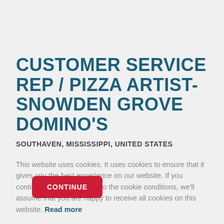CUSTOMER SERVICE REP / PIZZA ARTIST- SNOWDEN GROVE DOMINO'S
SOUTHAVEN, MISSISSIPPI, UNITED STATES
This website uses cookies. It uses cookies to ensure that it gives you the best experience on our website. If you continue without agreeing to the cookie conditions, we'll assume that you are happy to receive all cookies on this website. Read more
CONTINUE